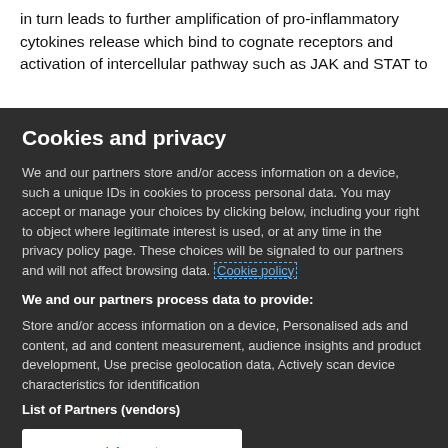in turn leads to further amplification of pro-inflammatory cytokines release which bind to cognate receptors and activation of intercellular pathway such as JAK and STAT to
Cookies and privacy
We and our partners store and/or access information on a device, such a unique IDs in cookies to process personal data. You may accept or manage your choices by clicking below, including your right to object where legitimate interest is used, or at any time in the privacy policy page. These choices will be signaled to our partners and will not affect browsing data. Cookie policy
We and our partners process data to provide:
Store and/or access information on a device, Personalised ads and content, ad and content measurement, audience insights and product development, Use precise geolocation data, Actively scan device characteristics for identification
List of Partners (vendors)
I Accept